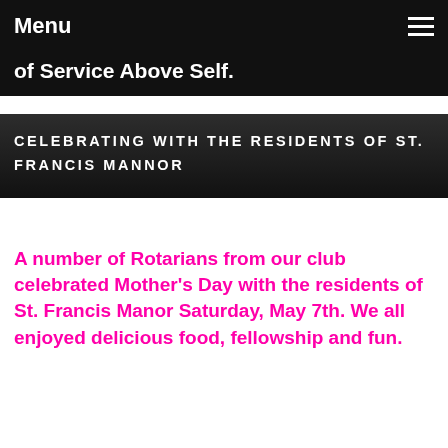Menu
of Service Above Self.
CELEBRATING WITH THE RESIDENTS OF ST. FRANCIS MANNOR
A number of Rotarians from our club celebrated Mother's Day with the residents of St. Francis Manor Saturday, May 7th. We all enjoyed delicious food, fellowship and fun.